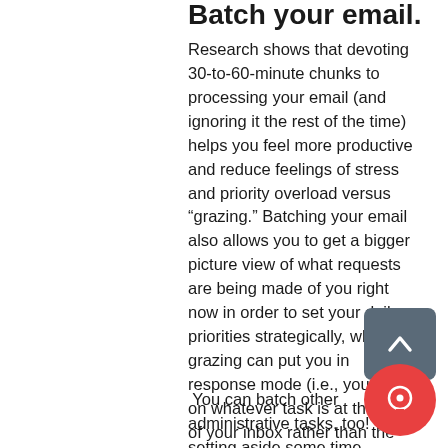Batch your email.
Research shows that devoting 30-to-60-minute chunks to processing your email (and ignoring it the rest of the time) helps you feel more productive and reduce feelings of stress and priority overload versus “grazing.” Batching your email also allows you to get a bigger picture view of what requests are being made of you right now in order to set your daily priorities strategically, whereas grazing can put you in response mode (i.e., you work on whatever task is at the top of your inbox rather than the one that’s most vital to what you want to achieve that day).
You can batch other administrative tasks, too! Try setting aside some time